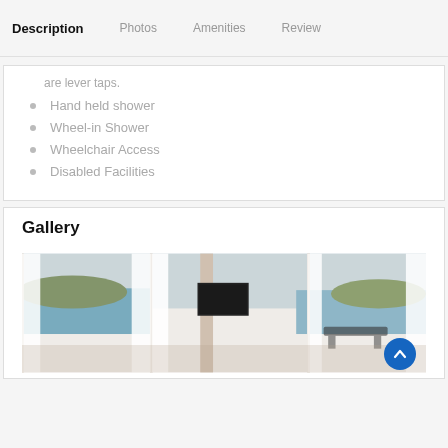Description  Photos  Amenities  Review
are lever taps.
Hand held shower
Wheel-in Shower
Wheelchair Access
Disabled Facilities
Gallery
[Figure (photo): Hotel room interior with large windows showing ocean and island views, white curtains, a wall-mounted TV, and outdoor seating visible through the windows.]